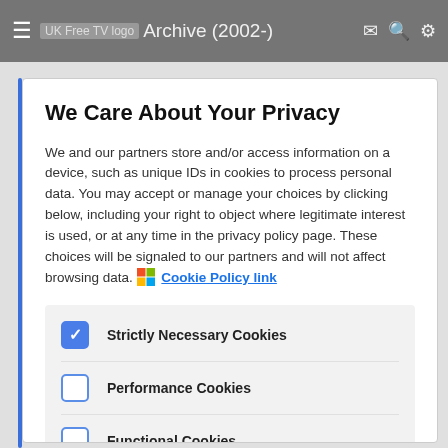≡ UK Free TV logo  Archive (2002-)  ✉ 🔍 ⚙
We Care About Your Privacy
We and our partners store and/or access information on a device, such as unique IDs in cookies to process personal data. You may accept or manage your choices by clicking below, including your right to object where legitimate interest is used, or at any time in the privacy policy page. These choices will be signaled to our partners and will not affect browsing data. Cookie Policy link
Strictly Necessary Cookies (checked)
Performance Cookies (unchecked)
Functional Cookies (unchecked)
Targeting Cookies (unchecked)
List of Partners (vendors)